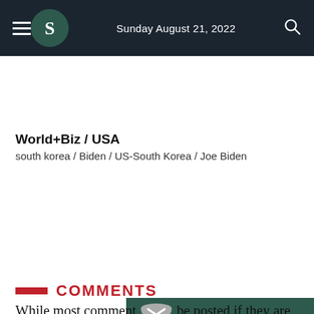Sunday August 21, 2022
World+Biz / USA
south korea / Biden / US-South Korea / Joe Biden
[Figure (infographic): Dark teal banner with clipped right edge reading 'CLICK HERE TO FOLLOW US ON Instagram' with hand/pointer cursor icon, linking to Instagram.]
COMMENTS
While most comment be posted if they are